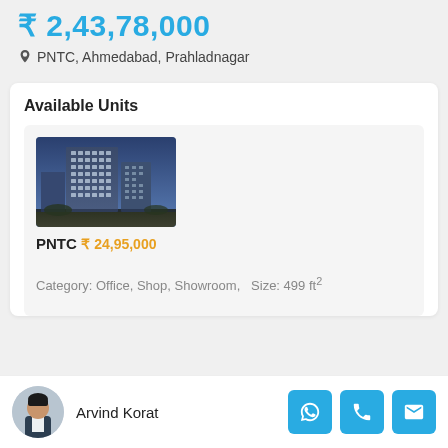₹ 2,43,78,000
PNTC, Ahmedabad, Prahladnagar
Available Units
[Figure (photo): Exterior photo of PNTC commercial building — modern multi-storey structure at dusk]
PNTC
₹ 24,95,000
Category: Office, Shop, Showroom,   Size: 499 ft²
Arvind Korat